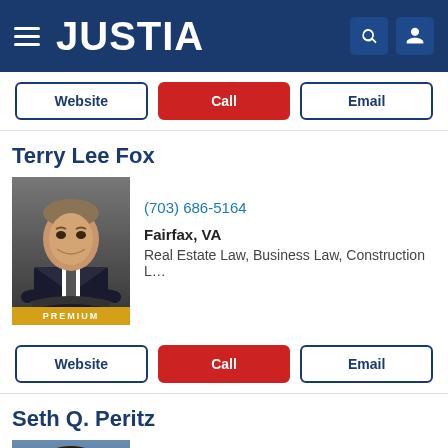JUSTIA
Website | Call | Email
Terry Lee Fox
(703) 686-5164
Fairfax, VA
Real Estate Law, Business Law, Construction L…
PREMIUM
Website | Call | Email
Seth Q. Peritz
(703) 337-3773
Fairfax, VA
Criminal Law, DUI & DWI, Juvenile Law, Traffic …